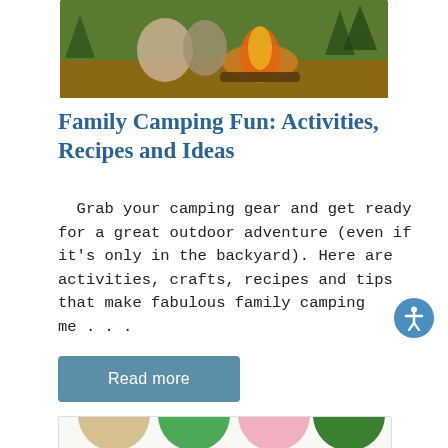[Figure (photo): Photo of people around a campfire outdoors, partially cropped at top]
Family Camping Fun: Activities, Recipes and Ideas
Grab your camping gear and get ready for a great outdoor adventure (even if it's only in the backyard). Here are activities, crafts, recipes and tips that make fabulous family camping me . . .
[Figure (infographic): Camping vocabulary infographic with circular icons showing lantern, hammock, tent, cabin, RV/camper, fishing pole, s'mores, sleeping bag and more camping items with labels]